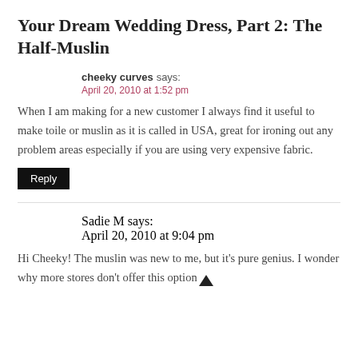Your Dream Wedding Dress, Part 2: The Half-Muslin
cheeky curves says:
April 20, 2010 at 1:52 pm
When I am making for a new customer I always find it useful to make toile or muslin as it is called in USA, great for ironing out any problem areas especially if you are using very expensive fabric.
Reply
Sadie M says:
April 20, 2010 at 9:04 pm
Hi Cheeky! The muslin was new to me, but it's pure genius. I wonder why more stores don't offer this option